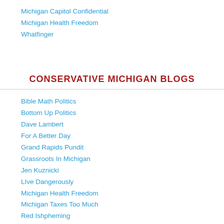Michigan Capitol Confidential
Michigan Health Freedom
Whatfinger
CONSERVATIVE MICHIGAN BLOGS
Bible Math Politics
Bottom Up Politics
Dave Lambert
For A Better Day
Grand Rapids Pundit
Grassroots In Michigan
Jen Kuznicki
LIve Dangerously
Michigan Health Freedom
Michigan Taxes Too Much
Red Ishpheming
Republican Michigander
The Rain Report